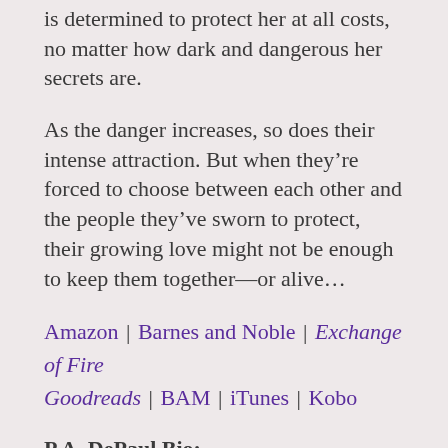is determined to protect her at all costs, no matter how dark and dangerous her secrets are.
As the danger increases, so does their intense attraction. But when they're forced to choose between each other and the people they've sworn to protect, their growing love might not be enough to keep them together—or alive...
Amazon | Barnes and Noble | Exchange of Fire Goodreads | BAM | iTunes | Kobo
P.A. DePaul Bio:
P.A. DePaul is a multi-genre romance
[Figure (photo): PA DePaul Author Photo]